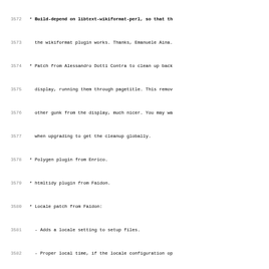Code/changelog listing lines 3572-3603 of ikiwiki debian changelog
3572: * Build-depend on libtext-wikiformat-perl, so that th
3573:   the wikiformat plugin works. Thanks, Emanuele Aina.
3574: * Patch from Alessandro Dotti Contra to clean up back
3575:   display, running them through pagetitle. This remov
3576:   other gunk from the display, much nicer. You may wa
3577:   when upgrading to get the cleanup globally.
3578: * Polygen plugin from Enrico.
3579: * htmltidy plugin from Faidon.
3580: * Locale patch from Faidon:
3581:   - Adds a locale setting to setup files.
3582:   - Proper local time, if the locale configuration op
3583:   - Support for UTF-8 (or ISO-8859-X) filenames in SV
3584:     commiting (or even rcs_updating) on repositories
3585:     impossible.
3586: * Add getopt hook type, this allows plugins to add ne
3587: * Add --tagbase option to tag plugin.
3588: * Add exclude option in setup files, works same as --
3589: * Put categories in rss feeds for tagged items.
3590: * Allow preprocessor directives to be expanded in inl
3591:   However, to avoid inlining loops etc, don't expand
3592:   inlined pages.
3593: * fortune plugin (trivial)
3594: * Tag plugins according to type.
3595: (blank)
3596:  -- Joey Hess <joeyh@debian.org>  Sat, 29 Jul 2006 17:1
3597: (blank)
3598: ikiwiki (1.11) unstable; urgency=low
3599: (blank)
3600:   * Patch from Enrico that
3601:     - Adds a tag plugin that allows more easily tagging
3602:       The meta plugin can also still be used for that,
3603:       also lists a page's tags at the bottom of the pa